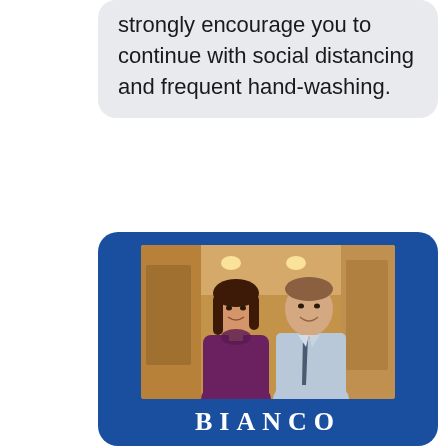strongly encourage you to continue with social distancing and frequent hand-washing.
[Figure (photo): Blue framed promotional card showing a man and woman smiling in an indoor hallway. The woman wears a purple dress and the man wears a light blue shirt and dark tie. Below the photo is the text 'BIANCO' in large white serif letters on a blue background.]